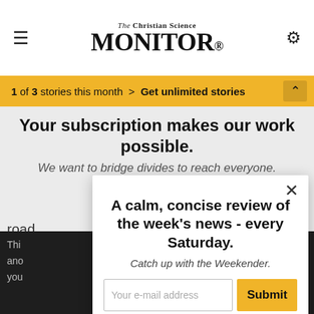The Christian Science Monitor
1 of 3 stories this month > Get unlimited stories
Your subscription makes our work possible.
We want to bridge divides to reach everyone.
A calm, concise review of the week's news - every Saturday.
Catch up with the Weekender.
Your e-mail address
Submit